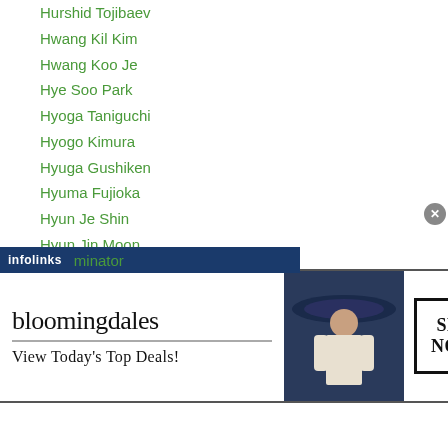Hurshid Tojibaev
Hwang Kil Kim
Hwang Koo Je
Hye Soo Park
Hyoga Taniguchi
Hyogo Kimura
Hyuga Gushiken
Hyuma Fujioka
Hyun Je Shin
Hyun Jin Moon
Hyun Mi Choi
Hyun Min Yang
Hyun Tae Bae
Hyun Woo Yuh
Ibf
infolinks minator
[Figure (other): Bloomingdale's advertisement banner with logo, 'View Today's Top Deals!' text, woman in large hat, and 'SHOP NOW >' button]